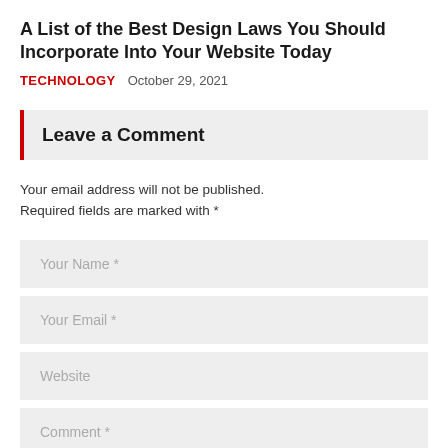A List of the Best Design Laws You Should Incorporate Into Your Website Today
TECHNOLOGY   October 29, 2021
Leave a Comment
Your email address will not be published. Required fields are marked with *
Your Name *
Your Email *
Website
Comment *